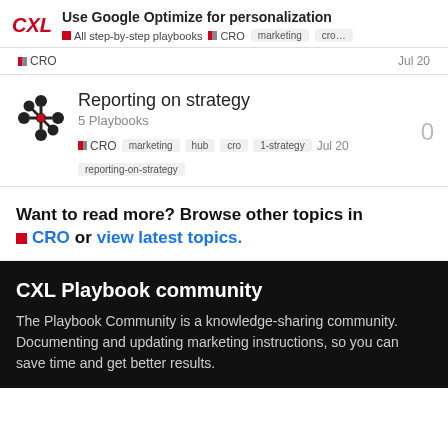Use Google Optimize for personalization | All step-by-step playbooks | CRO | marketing | cro…
CRO   Jul 20
Reporting on strategy
5 Playbooks
CRO  marketing  hub  cro  1-strategy  Jul 20  reporting-on-strategy
Want to read more? Browse other topics in CRO or view latest topics.
CXL Playbook community
The Playbook Community is a knowledge-sharing community. Documenting and updating marketing instructions, so you can save time and get better results.